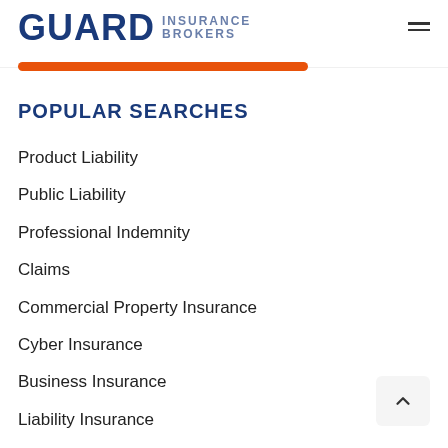GUARD INSURANCE BROKERS
POPULAR SEARCHES
Product Liability
Public Liability
Professional Indemnity
Claims
Commercial Property Insurance
Cyber Insurance
Business Insurance
Liability Insurance